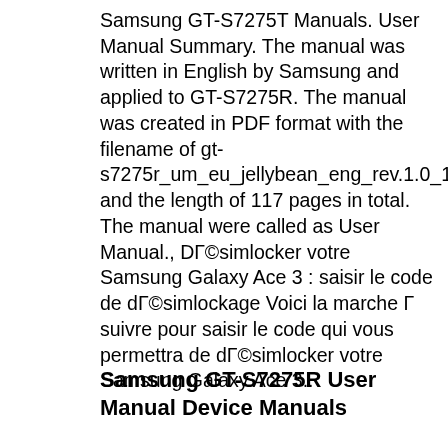Samsung GT-S7275T Manuals. User Manual Summary. The manual was written in English by Samsung and applied to GT-S7275R. The manual was created in PDF format with the filename of gt-s7275r_um_eu_jellybean_eng_rev.1.0_130826.pdf and the length of 117 pages in total. The manual were called as User Manual., DГ©simlocker votre Samsung Galaxy Ace 3 : saisir le code de dГ©simlockage Voici la marche Г suivre pour saisir le code qui vous permettra de dГ©simlocker votre Samsung Galaxy Ace 3..
Samsung GT-S7275R User Manual Device Manuals